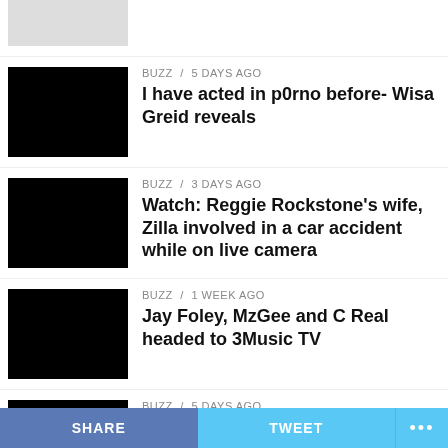[Figure (photo): Partial news thumbnail image at top, partially visible]
BUZZ / 5 days ago
I have acted in p0rno before- Wisa Greid reveals
BUZZ / 3 days ago
Watch: Reggie Rockstone’s wife, Zilla involved in a car accident while on live camera
BUZZ / 1 week ago
Jay Foley, MzGee and C Real headed to 3Music TV
BUZZ / 5 days ago
Deal with me and leave my mother’s name out from your mouth – Akuapem Poloo to Afia
SHARE   TWEET   ...